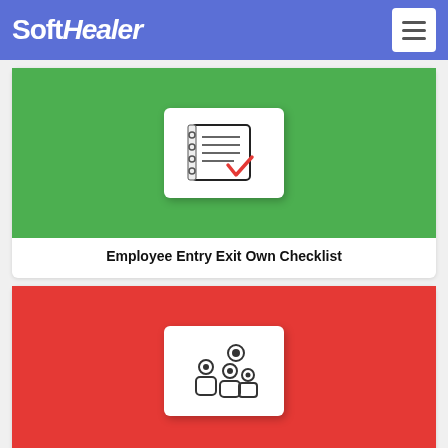SoftHealer
[Figure (screenshot): Green card with checklist icon for Employee Entry Exit Own Checklist]
Employee Entry Exit Own Checklist
[Figure (screenshot): Red card with manufacturing/people icon for Manufacturing Checklist]
Manufacturing Checklist